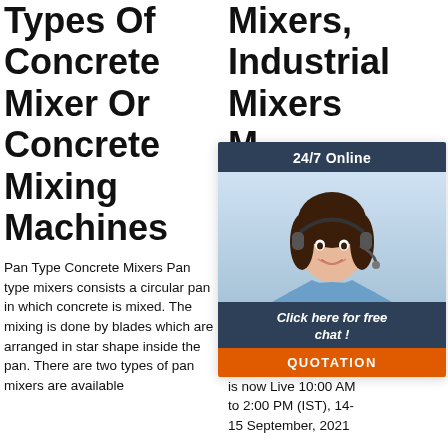Types Of Concrete Mixer Or Concrete Mixing Machines
Pan Type Concrete Mixers Pan type mixers consists a circular pan in which concrete is mixed. The mixing is done by blades which are arranged in star shape inside the pan. There are two types of pan mixers are available
Mixers, Industrial Mixers M...
[Figure (photo): Chat widget popup with a 24/7 Online label, a photo of a woman with headset, 'Click here for free chat!' text, and a QUOTATION button in orange]
... 2021 15u. wide indu offer comp TradeIndia Finance First Summit - 2021 sponsored by PayTm is now Live 10:00 AM to 2:00 PM (IST), 14-15 September, 2021